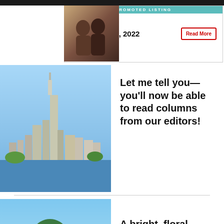[Figure (infographic): Promoted listing ad banner with teal header bar reading PROMOTED LISTING, photo of couple on left, text 'This is dating, 2022' and red 'Read More' button]
[Figure (photo): Aerial photo of New York City skyline with water in foreground]
Let me tell you—you’ll now be able to read columns from our editors!
[Figure (photo): Colorful floral arch gateway in a Brooklyn park with trees in background]
A bright, floral gateway in Brooklyn will honor LGBTQ+ trailblazer Marsha P. Johnson
NYC’s holiday markets have officia…